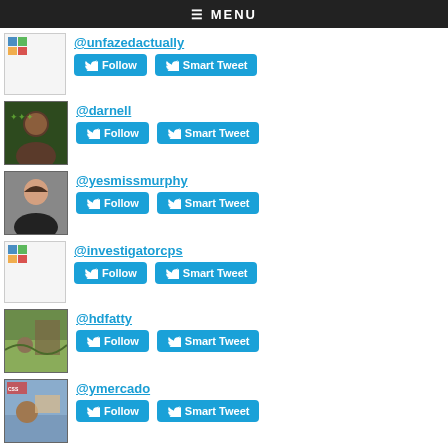≡ MENU
@unfazedactually
@darnell
@yesmissmurphy
@investigatorcps
@hdfatty
@ymercado
@diogenes20203